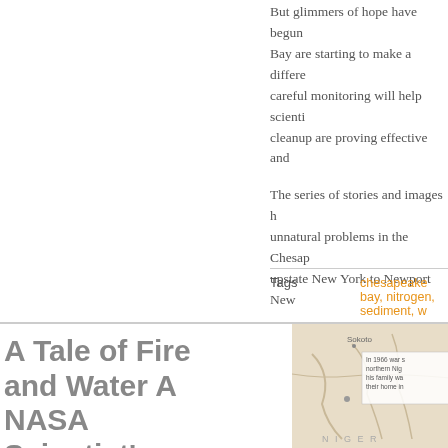But glimmers of hope have begun Bay are starting to make a difference, careful monitoring will help scientists cleanup are proving effective and
The series of stories and images unnatural problems in the Chesapeake upstate New York to Newport News
Read t
NASA Earth Obse
| Tags | chesapeake bay, nitrogen, sediment, w |
| Categories | 2016, NASA, Uncategorized, Water |
A Tale of Fire and Water A NASA Scientist's
[Figure (map): Map showing Nigeria region with Sokoto labeled and an inset text box describing events in 1966 war in northern Nigeria]